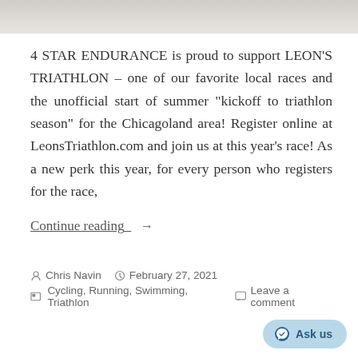[Figure (photo): Top strip showing partial image of a ceiling or interior space, light grey/beige tones]
4 STAR ENDURANCE is proud to support LEON'S TRIATHLON – one of our favorite local races and the unofficial start of summer “kickoff to triathlon season” for the Chicagoland area! Register online at LeonsTriathlon.com and join us at this year’s race! As a new perk this year, for every person who registers for the race,
Continue reading →
Chris Navin  February 27, 2021
Cycling, Running, Swimming, Triathlon  Leave a comment